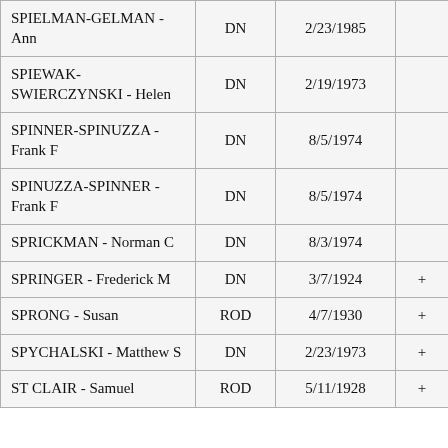| Name | Code | Date |  |
| --- | --- | --- | --- |
| SPIELMAN-GELMAN - Ann | DN | 2/23/1985 |  |
| SPIEWAK-SWIERCZYNSKI - Helen | DN | 2/19/1973 |  |
| SPINNER-SPINUZZA - Frank F | DN | 8/5/1974 |  |
| SPINUZZA-SPINNER - Frank F | DN | 8/5/1974 |  |
| SPRICKMAN - Norman C | DN | 8/3/1974 |  |
| SPRINGER - Frederick M | DN | 3/7/1924 | + |
| SPRONG - Susan | ROD | 4/7/1930 | + |
| SPYCHALSKI - Matthew S | DN | 2/23/1973 | + |
| ST CLAIR - Samuel | ROD | 5/11/1928 | + |